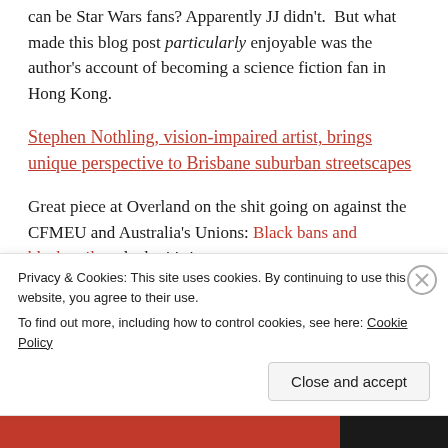can be Star Wars fans? Apparently JJ didn't.  But what made this blog post particularly enjoyable was the author's account of becoming a science fiction fan in Hong Kong.
Stephen Nothling, vision-impaired artist, brings unique perspective to Brisbane suburban streetscapes
Great piece at Overland on the shit going on against the CFMEU and Australia's Unions: Black bans and blackmail, and why it's important.
Privacy & Cookies: This site uses cookies. By continuing to use this website, you agree to their use.
To find out more, including how to control cookies, see here: Cookie Policy